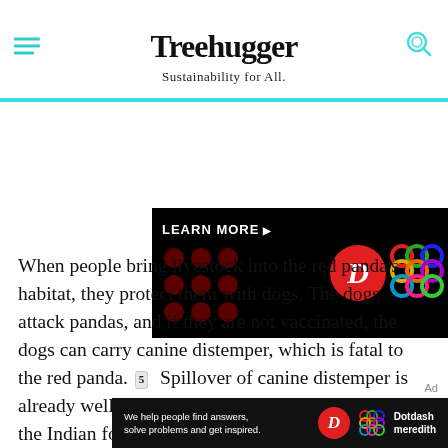Treehugger — Sustainability for All.
[Figure (other): Advertisement banner with black background, 'LEARN MORE' text, dark red dots on left, a red circle with italic D letter, and a colorful diamond pattern on the right]
When people bring livestock into the red panda's habitat, they protect them with dogs. The dogs attack pandas, and if they are not vaccinated, the dogs can carry canine distemper, which is fatal to the red panda. 5  Spillover of canine distemper is already well-documented in other species, such as the Indian fox and the Amur tiger. 6 7
[Figure (other): Bottom advertisement banner for Dotdash Meredith with text 'We help people find answers, solve problems and get inspired.']